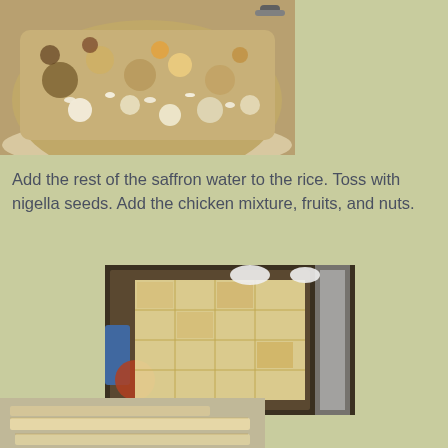[Figure (photo): Close-up of a bowl containing rice mixed with chicken, dried fruits, and nuts, with a spoon visible at the top]
Add the rest of the saffron water to the rice. Toss with nigella seeds. Add the chicken mixture, fruits, and nuts.
[Figure (photo): Flatbread dough cut into squares arranged on a dark surface, dusted with spices]
[Figure (photo): Rolled flatbread strips on a surface, partially visible]